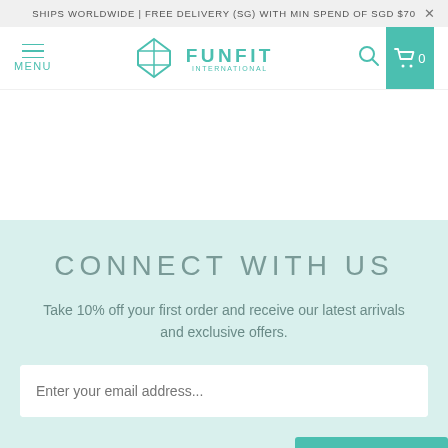SHIPS WORLDWIDE | FREE DELIVERY (SG) WITH MIN SPEND OF SGD $70
[Figure (logo): FunFit International logo with diamond/rhombus icon in teal and text FUNFIT INTERNATIONAL]
CONNECT WITH US
Take 10% off your first order and receive our latest arrivals and exclusive offers.
Enter your email address...
USD
REWARDS